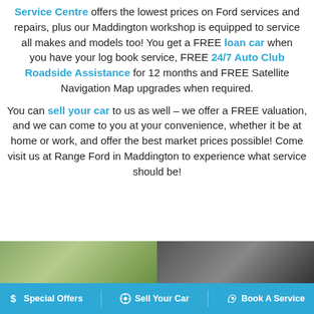Service Centre offers the lowest prices on Ford services and repairs, plus our Maddington workshop is equipped to service all makes and models too! You get a FREE loan car when you have your log book service, FREE 24/7 Auto Club Roadside Assistance for 12 months and FREE Satellite Navigation Map upgrades when required.
You can sell your car to us as well – we offer a FREE valuation, and we can come to you at your convenience, whether it be at home or work, and offer the best market prices possible! Come visit us at Range Ford in Maddington to experience what service should be!
[Figure (photo): Photo strip showing two images side by side: left is a nature/tree scene with green foliage, right is a dark automotive interior or car scene.]
$ Special Offers   Sell Your Car   Book A Service